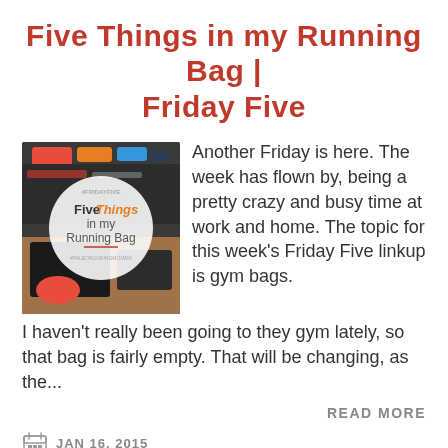Five Things in my Running Bag | Friday Five
[Figure (photo): Photo of running gear/socks with overlay circle graphic reading 'Five Things in my Running Bag' with hashtag #FridayFive]
Another Friday is here. The week has flown by, being a pretty crazy and busy time at work and home. The topic for this week's Friday Five linkup is gym bags. I haven't really been going to they gym lately, so that bag is fairly empty. That will be changing, as the...
READ MORE
JAN 16, 2015